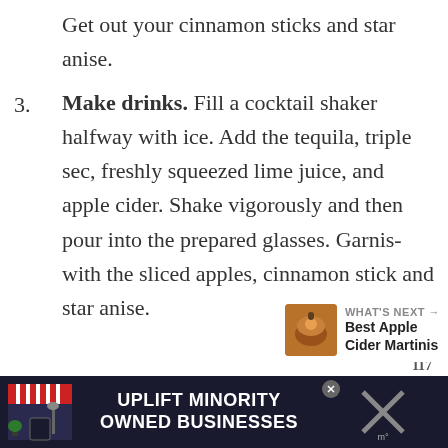Get out your cinnamon sticks and star anise.
3. Make drinks. Fill a cocktail shaker halfway with ice. Add the tequila, triple sec, freshly squeezed lime juice, and apple cider. Shake vigorously and then pour into the prepared glasses. Garnish with the sliced apples, cinnamon stick and star anise.
[Figure (infographic): What's Next panel with thumbnail image of apple cider martini, label 'WHAT'S NEXT' with arrow, and title 'Best Apple Cider Martinis']
[Figure (infographic): Advertisement banner for 'Uplift Minority Owned Businesses' with storefront icon on dark blue background, close button, and weather icon on right]